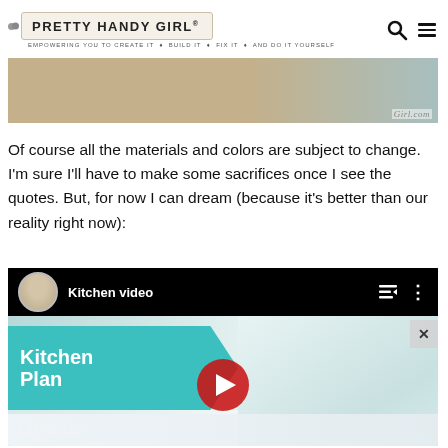PRETTY HANDY GIRL® — EMPOWERING YOU TO CREATE IT • BUILD IT • FIX IT • AND DO IT YOURSELF
[Figure (photo): Partial image of flooring materials with watermark text 'Girl.com' at bottom right]
Of course all the materials and colors are subject to change. I'm sure I'll have to make some sacrifices once I see the quotes. But, for now I can dream (because it's better than our reality right now):
[Figure (screenshot): YouTube video embed showing a 'Kitchen video' thumbnail with 'Kitchen Plan Update' text in teal banner over a kitchen image, with a YouTube play button overlay]